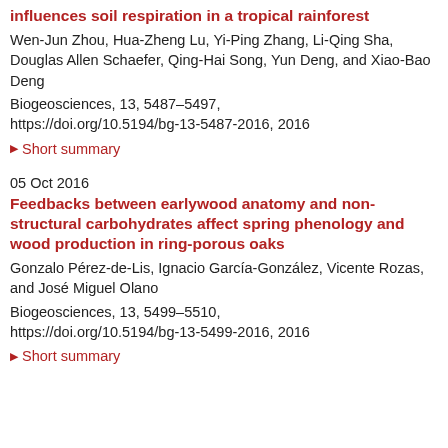influences soil respiration in a tropical rainforest
Wen-Jun Zhou, Hua-Zheng Lu, Yi-Ping Zhang, Li-Qing Sha, Douglas Allen Schaefer, Qing-Hai Song, Yun Deng, and Xiao-Bao Deng
Biogeosciences, 13, 5487–5497, https://doi.org/10.5194/bg-13-5487-2016, 2016
▶ Short summary
05 Oct 2016
Feedbacks between earlywood anatomy and non-structural carbohydrates affect spring phenology and wood production in ring-porous oaks
Gonzalo Pérez-de-Lis, Ignacio García-González, Vicente Rozas, and José Miguel Olano
Biogeosciences, 13, 5499–5510, https://doi.org/10.5194/bg-13-5499-2016, 2016
▶ Short summary